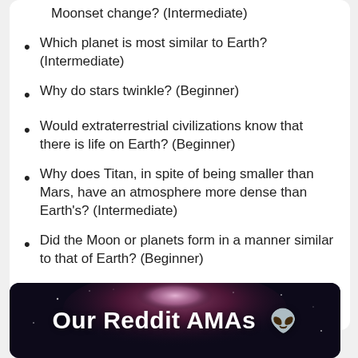Moonset change? (Intermediate)
Which planet is most similar to Earth? (Intermediate)
Why do stars twinkle? (Beginner)
Would extraterrestrial civilizations know that there is life on Earth? (Beginner)
Why does Titan, in spite of being smaller than Mars, have an atmosphere more dense than Earth's? (Intermediate)
Did the Moon or planets form in a manner similar to that of Earth? (Beginner)
Why aren't there any green stars? (Intermediate)
[Figure (illustration): Dark space/nebula background banner with text 'Our Reddit AMAs' and a Reddit alien icon]